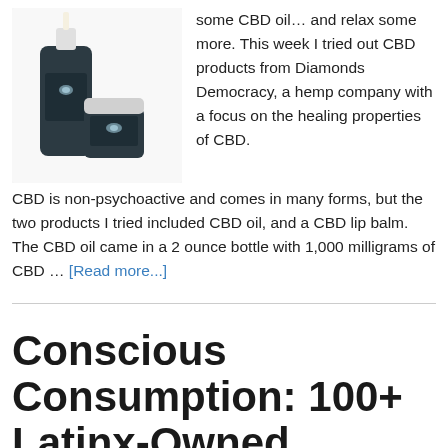[Figure (photo): Two dark amber CBD product bottles with white caps and bee logo labels on a white background.]
some CBD oil… and relax some more. This week I tried out CBD products from Diamonds Democracy, a hemp company with a focus on the healing properties of CBD.  CBD is non-psychoactive and comes in many forms, but the two products I tried included CBD oil, and a CBD lip balm. The CBD oil came in a 2 ounce bottle with 1,000 milligrams of CBD … [Read more...]
Conscious Consumption: 100+ Latinx-Owned